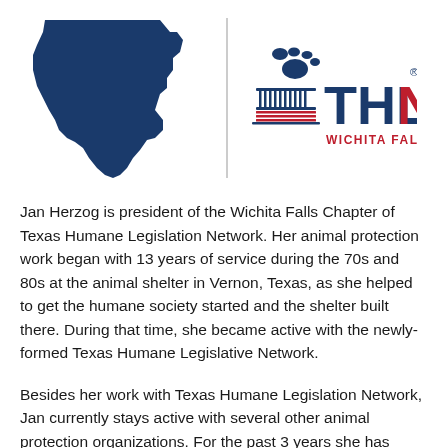[Figure (logo): Texas state silhouette in dark blue on the left, a vertical divider line, and the THLN (Texas Humane Legislation Network) Wichita Falls logo on the right featuring a paw print, capitol building icon, and bold THLN text with red N and registered trademark symbol, with WICHITA FALLS in red below]
Jan Herzog is president of the Wichita Falls Chapter of Texas Humane Legislation Network. Her animal protection work began with 13 years of service during the 70s and 80s at the animal shelter in Vernon, Texas, as she helped to get the humane society started and the shelter built there. During that time, she became active with the newly-formed Texas Humane Legislative Network.
Besides her work with Texas Humane Legislation Network, Jan currently stays active with several other animal protection organizations. For the past 3 years she has served as the Wichita Falls coordinator for the innovative transport program Love on Wheels, a program operated